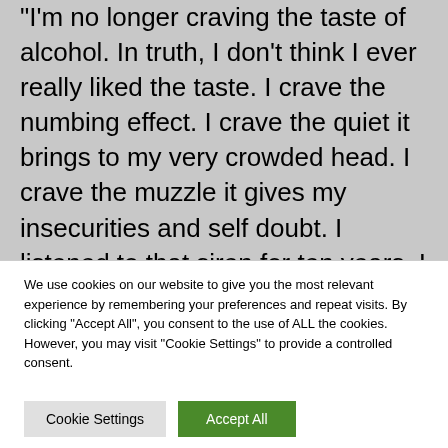I'm no longer craving the taste of alcohol. In truth, I don't think I ever really liked the taste. I crave the numbing effect. I crave the quiet it brings to my very crowded head. I crave the muzzle it gives my insecurities and self doubt. I listened to that siren for ten years. I believed her songs. I believed she was beautiful. It's time to leave her on the edge of that chiasm and continue stepping, one foot in front of the other, across that invisible bridge.
We use cookies on our website to give you the most relevant experience by remembering your preferences and repeat visits. By clicking "Accept All", you consent to the use of ALL the cookies. However, you may visit "Cookie Settings" to provide a controlled consent.